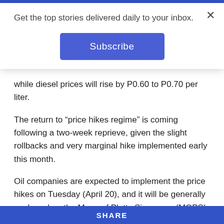Get the top stories delivered daily to your inbox.
Subscribe
while diesel prices will rise by P0.60 to P0.70 per liter.
The return to “price hikes regime” is coming following a two-week reprieve, given the slight rollbacks and very marginal hike implemented early this month.
Oil companies are expected to implement the price hikes on Tuesday (April 20), and it will be generally anchored on the Mean of Platts Singapore (MOPS), which is the pricing reference adopted by the domestic market.
Meantime, a monitoring report of the Department of
SHARE